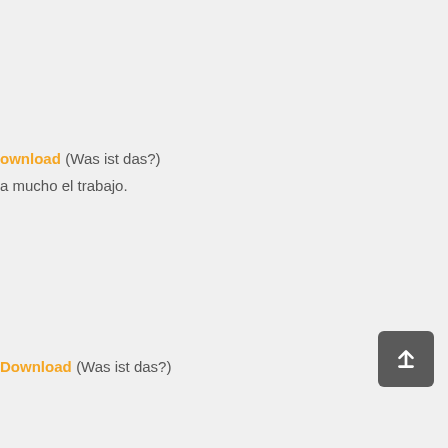ownload (Was ist das?)
a mucho el trabajo.
Download (Was ist das?)
[Figure (other): A dark gray rounded square button with a white upward arrow icon (scroll-to-top button)]